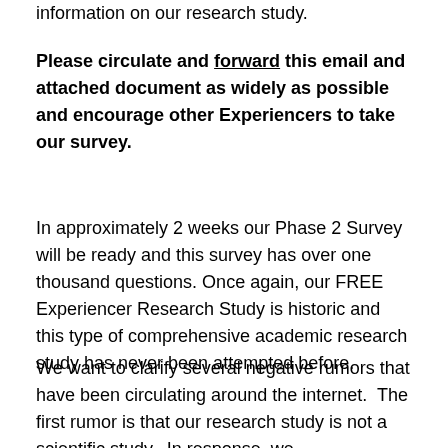information on our research study.
Please circulate and forward this email and attached document as widely as possible and encourage other Experiencers to take our survey.
In approximately 2 weeks our Phase 2 Survey will be ready and this survey has over one thousand questions. Once again, our FREE Experiencer Research Study is historic and this type of comprehensive academic research study has never been attempted before.
We want to clarify several negative rumors that have been circulating around the internet. The first rumor is that our research study is not a scientific study. In response, we